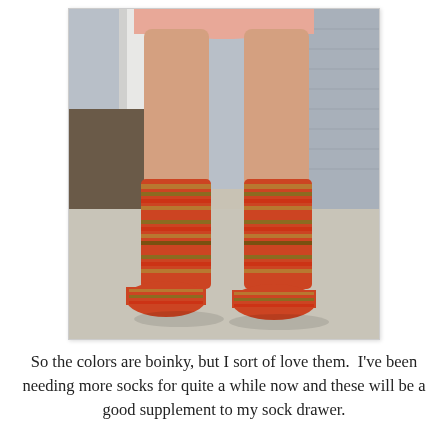[Figure (photo): A person's legs wearing colorful striped knitted socks in red, orange, olive, and multicolor stripes, standing on a concrete surface. A pink skirt is visible at the top. Background shows a white door frame and gray siding.]
So the colors are boinky, but I sort of love them.  I've been needing more socks for quite a while now and these will be a good supplement to my sock drawer.